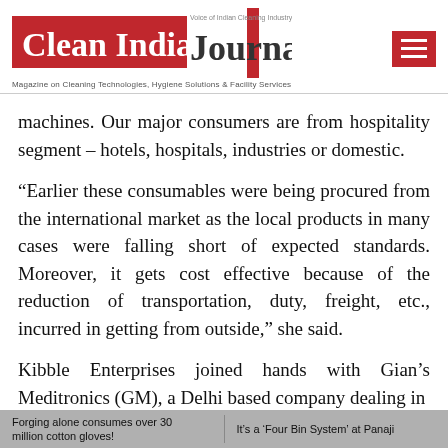Clean India Journal — Magazine on Cleaning Technologies, Hygiene Solutions & Facility Services
machines. Our major consumers are from hospitality segment – hotels, hospitals, industries or domestic.
“Earlier these consumables were being procured from the international market as the local products in many cases were falling short of expected standards. Moreover, it gets cost effective because of the reduction of transportation, duty, freight, etc., incurred in getting from outside,” she said.
Kibble Enterprises joined hands with Gian’s Meditronics (GM), a Delhi based company dealing in
Forging alone consumes over 30 million cotton gloves! | It’s a ‘Four Bin System’ at Panaji